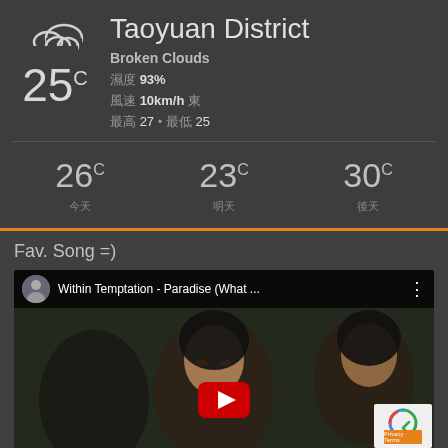Taoyuan District
Broken Clouds
濕度 93%
風速 10km/h 東
最高 27 • 最低 25
25°C
26°C — 今天
23°C — 明天
30°C — 後天
Fav. Song =)
[Figure (screenshot): YouTube embed showing 'Within Temptation - Paradise (What ...' with play button and thumbnail of a woman's face]